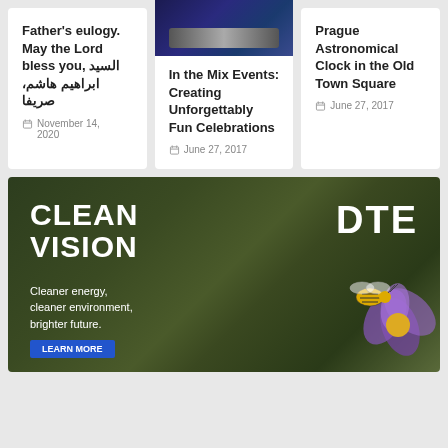Father's eulogy. May the Lord bless you, السيد ابراهيم هاشم، صريفا
November 14, 2020
[Figure (photo): DJ hands on mixing equipment, blue-lit scene]
In the Mix Events: Creating Unforgettably Fun Celebrations
June 27, 2017
Prague Astronomical Clock in the Old Town Square
June 27, 2017
[Figure (photo): DTE advertisement: CLEAN VISION / DTE / Cleaner energy, cleaner environment, brighter future. Background shows a bee on a purple flower.]